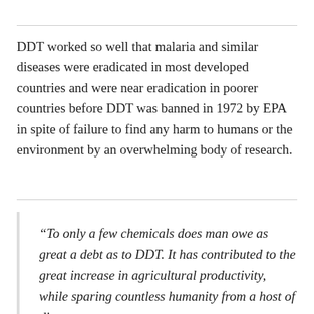DDT worked so well that malaria and similar diseases were eradicated in most developed countries and were near eradication in poorer countries before DDT was banned in 1972 by EPA in spite of failure to find any harm to humans or the environment by an overwhelming body of research.
“To only a few chemicals does man owe as great a debt as to DDT. It has contributed to the great increase in agricultural productivity, while sparing countless humanity from a host of diseases, most